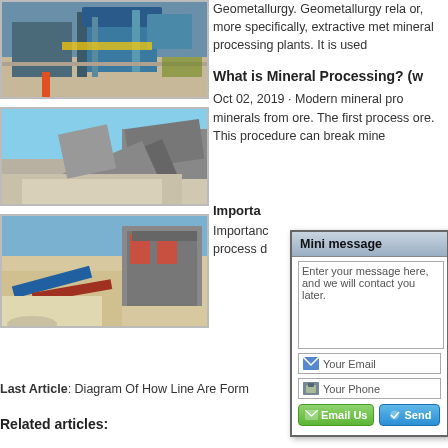[Figure (photo): Industrial mineral processing plant with conveyor belts and large machinery, green and blue equipment visible]
Geometallurgy. Geometallurgy rela or, more specifically, extractive met mineral processing plants. It is used
[Figure (photo): Heavy machinery crushing and processing aggregates/gravel at a mining site, large pile of crushed stone visible]
What is Mineral Processing? (w
Oct 02, 2019 · Modern mineral pro minerals from ore. The first process ore. This procedure can break mine
[Figure (photo): Outdoor mineral processing site with conveyor belts and machinery, red machinery visible on left, mountains in background]
Importa
Importance he process d f m
Last Article: Diagram Of How Line Are Form
Related articles:
[Figure (screenshot): Mini message popup dialog with textarea for message entry, email field, phone field, and Email Us / Send buttons]